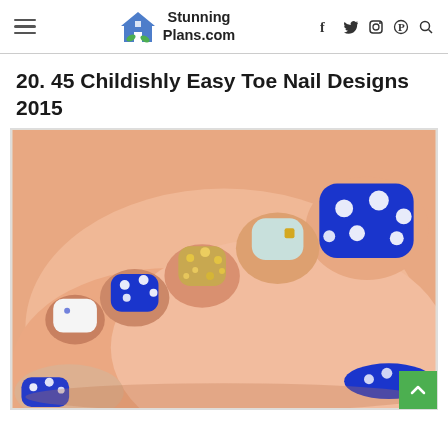StunningPlans.com — navigation header with hamburger menu, logo, social icons (f, twitter, instagram, pinterest) and search
20. 45 Childishly Easy Toe Nail Designs 2015
[Figure (photo): Close-up photo of toes with decorative nail art: blue polish with white polka dots on big toe, light blue with gold stud, gold glitter, blue polka dot, and white nails on other toes.]